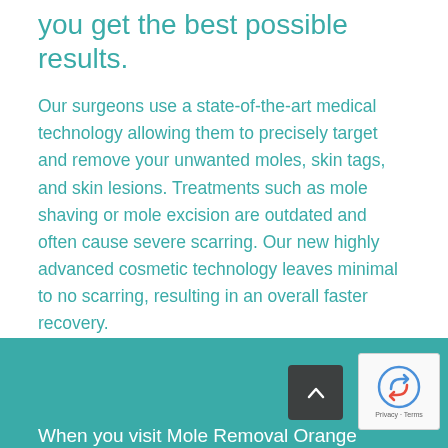you get the best possible results.
Our surgeons use a state-of-the-art medical technology allowing them to precisely target and remove your unwanted moles, skin tags, and skin lesions. Treatments such as mole shaving or mole excision are outdated and often cause severe scarring. Our new highly advanced cosmetic technology leaves minimal to no scarring, resulting in an overall faster recovery.
When you visit Mole Removal Orange